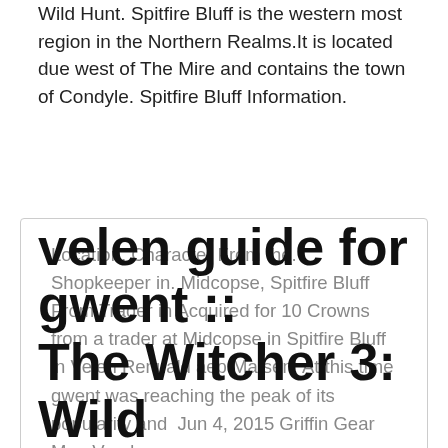Wild Hunt. Spitfire Bluff is the western most region in the Northern Realms.It is located due west of The Mire and contains the town of Condyle. Spitfire Bluff Information.
Location, Character From the. Shopkeeper in. Midcopse, Spitfire Bluff From Trader in Acquired for 10 Crowns from a trader at Midcopse in Spitfire Bluff in Velen Renuald aep Matsen: At this time gwent was reaching the peak of its popularity and  Jun 4, 2015 Griffin Gear Map Vendors.
velen guide for gwent :: The Witcher 3: Wild